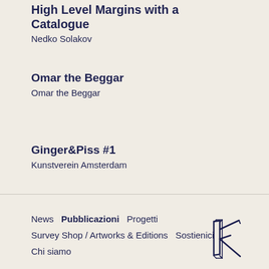High Level Margins with a Catalogue
Nedko Solakov
Omar the Beggar
Omar the Beggar
Ginger&Piss #1
Kunstverein Amsterdam
News  Pubblicazioni  Progetti  Survey Shop / Artworks & Editions  Sostienici  Chi siamo